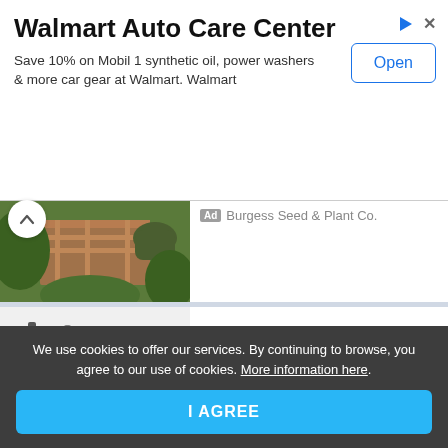[Figure (screenshot): Walmart Auto Care Center advertisement banner with Open button]
Walmart Auto Care Center
Save 10% on Mobil 1 synthetic oil, power washers & more car gear at Walmart. Walmart
[Figure (photo): Partial garden/seed image with person in gloves holding wooden crate]
Ad Burgess Seed & Plant Co.
[Figure (photo): LilyAna Naturals product photo showing dropper bottles and retinol cream]
Formulated In The USA
Ad LilyAna Naturals
[Figure (photo): Foofster watches diagram showing chronograph watch with labeled parts]
Foofster - Watches & More
Ad Foofster
We use cookies to offer our services. By continuing to browse, you agree to our use of cookies. More information here.
I AGREE